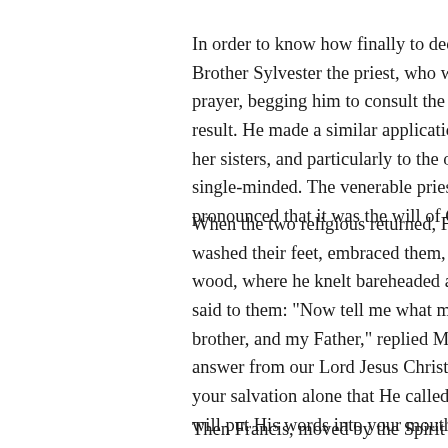In order to know how finally to decide, Fra Brother Sylvester the priest, who was then prayer, begging him to consult the Lord on result. He made a similar application to Cl her sisters, and particularly to the one who single-minded. The venerable priest and th pronounced that it was the will of God that
When the two religious returned, Francis re washed their feet, embraced them, and gav wood, where he knelt bareheaded and incli said to them: "Now tell me what my Lord J brother, and my Father," replied Masse, "S answer from our Lord Jesus Christ, which i your salvation alone that He called you, bu will put His words into your mouth."
Then Francis, moved by the Spirit of God,